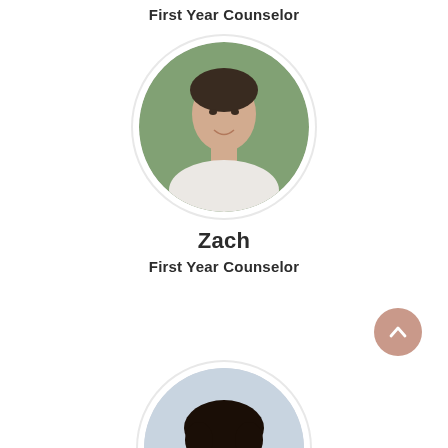First Year Counselor
[Figure (photo): Circular profile photo of a young man named Zach, smiling, with dark hair, against a blurred green background]
Zach
First Year Counselor
[Figure (illustration): Pinkish-tan circular back/up arrow button]
[Figure (photo): Circular profile photo of another young man with dark curly hair, partially cropped at bottom of page]